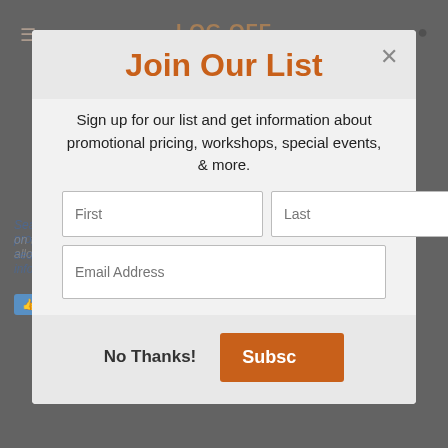LOG OFF Vacation, LLC
Join Our List
Sign up for our list and get information about promotional pricing, workshops, special events, & more.
Search Engine: a program on the internet that allows users to search for files and information.
No Thanks!
Subsc